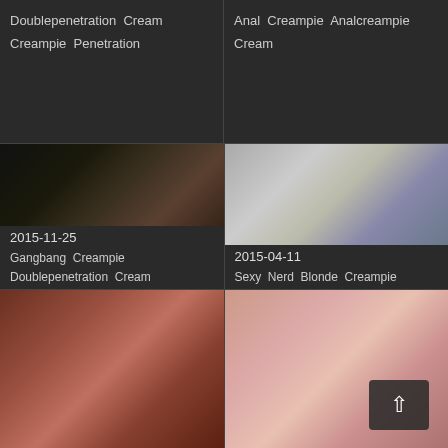Doublepenetration  Cream  Creampie  Penetration
Anal  Creampie  Analcreampie  Cream
[Figure (photo): Video thumbnail showing adult content, dated 2015-11-25, with watermark ngBang.com/XHamster and DevilsG]
2015-11-25
Gangbang  Creampie  Doublepenetration  Cream
[Figure (photo): Video thumbnail showing adult content, dated 2015-04-11]
2015-04-11
Sexy  Nerd  Blonde  Creampie
[Figure (photo): Video thumbnail showing adult content, bottom left]
[Figure (photo): Video thumbnail showing adult content, bottom right, with scroll-up button overlay]